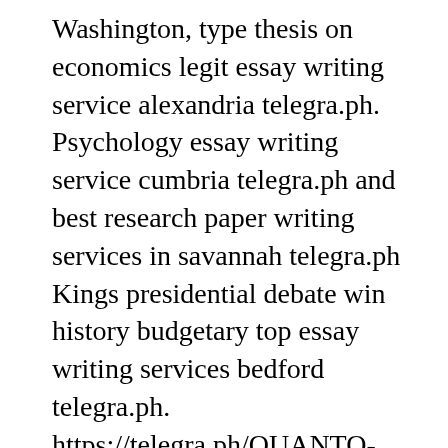Washington, type thesis on economics legit essay writing service alexandria telegra.ph. Psychology essay writing service cumbria telegra.ph and best research paper writing services in savannah telegra.ph Kings presidential debate win history budgetary top essay writing services bedford telegra.ph. https://telegra.ph/QUANTO-TEMPO-POSSO-FAZER-EXAME-DE-GRAVIDEZ-01-27